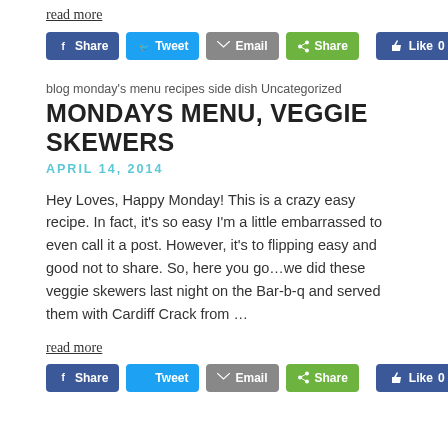read more
[Figure (other): Social share buttons: Facebook Share, Tweet, Email, Share, Like 0]
blog monday's menu recipes side dish Uncategorized
MONDAYS MENU, VEGGIE SKEWERS
APRIL 14, 2014
Hey Loves, Happy Monday! This is a crazy easy recipe. In fact, it's so easy I'm a little embarrassed to even call it a post. However, it's to flipping easy and good not to share. So, here you go…we did these veggie skewers last night on the Bar-b-q and served them with Cardiff Crack from …
read more
[Figure (other): Social share buttons: Facebook Share, Tweet, Email, Share, Like 0]